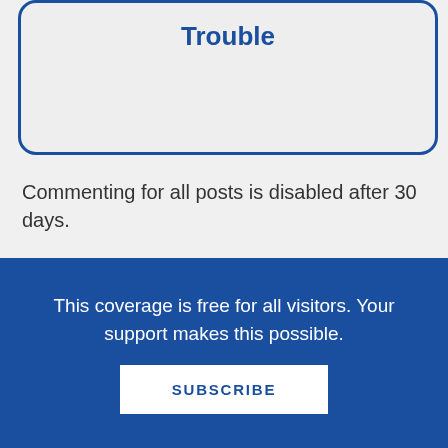Trouble
Commenting for all posts is disabled after 30 days.
This coverage is free for all visitors. Your support makes this possible.
SUBSCRIBE